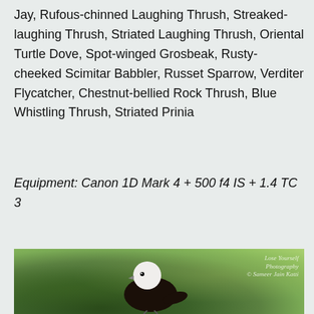Jay, Rufous-chinned Laughing Thrush, Streaked-laughing Thrush, Striated Laughing Thrush, Oriental Turtle Dove, Spot-winged Grosbeak, Rusty-cheeked Scimitar Babbler, Russet Sparrow, Verditer Flycatcher, Chestnut-bellied Rock Thrush, Blue Whistling Thrush, Striated Prinia
Equipment: Canon 1D Mark 4 + 500 f4 IS + 1.4 TC 3
[Figure (photo): A bird (appears to be a black and white bird, possibly a Pied bird species) photographed against a blurred green foliage background. Watermark reads 'Lose Yourself Photography © Sameer Jain Katti' in the top right corner.]